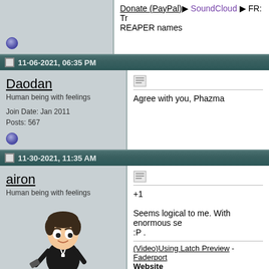Donate (PayPal) ► SoundCloud ► FR: Tr... REAPER names
11-06-2021, 06:35 PM
Daodan
Human being with feelings
Join Date: Jan 2011
Posts: 567
Agree with you, Phazma
11-30-2021, 11:35 AM
airon
Human being with feelings
Join Date: Aug 2006
Location: Berlin
Posts: 11,560
+1

Seems logical to me. With enormous se... :P .
(Video)Using Latch Preview - Faderport... Website
"My ego comes pre-shrunk" - Randy Th...